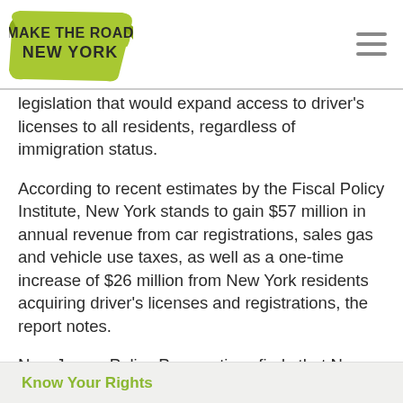Make The Road New York
legislation that would expand access to driver's licenses to all residents, regardless of immigration status.
According to recent estimates by the Fiscal Policy Institute, New York stands to gain $57 million in annual revenue from car registrations, sales gas and vehicle use taxes, as well as a one-time increase of $26 million from New York residents acquiring driver's licenses and registrations, the report notes.
New Jersey Policy Perspectives finds that New Jersey could earn at least $90 million in annual revenue, and about $21 million from permit, title
Know Your Rights